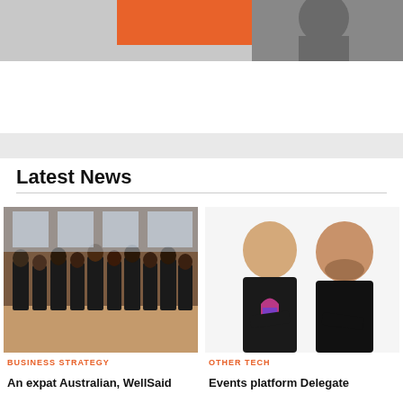[Figure (photo): Top strip showing an orange block and a person in the background, partial view]
Latest News
[Figure (photo): Group photo of people in black t-shirts standing in an office/co-working space]
BUSINESS STRATEGY
An expat Australian, WellSaid
[Figure (photo): Two men in black shirts, one with a pink/purple logo on shirt, crossing arms, against white background]
OTHER TECH
Events platform Delegate